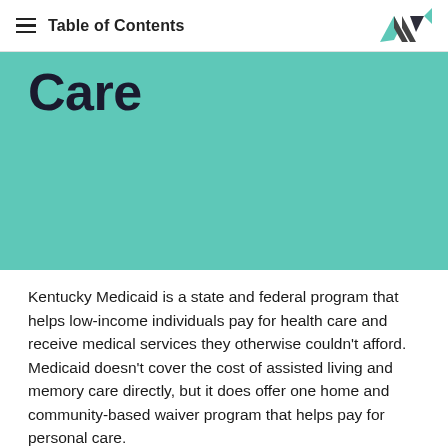Table of Contents
Care
Kentucky Medicaid is a state and federal program that helps low-income individuals pay for health care and receive medical services they otherwise couldn't afford. Medicaid doesn't cover the cost of assisted living and memory care directly, but it does offer one home and community-based waiver program that helps pay for personal care.
Home and Community-Based (HCB) Waiver